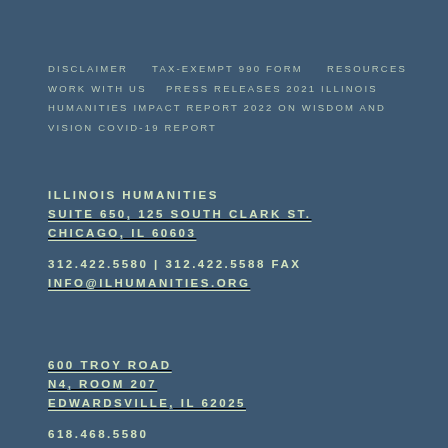DISCLAIMER    TAX-EXEMPT 990 FORM    RESOURCES
WORK WITH US    PRESS RELEASES
2021 ILLINOIS HUMANITIES IMPACT REPORT
2022 ON WISDOM AND VISION COVID-19 REPORT
ILLINOIS HUMANITIES
SUITE 650, 125 SOUTH CLARK ST.
CHICAGO, IL 60603
312.422.5580 | 312.422.5588 FAX
INFO@ILHUMANITIES.ORG
600 TROY ROAD
N4, ROOM 207
EDWARDSVILLE, IL 62025
618.468.5580
MATT.MEACHAM@ILHUMANITIES.ORG